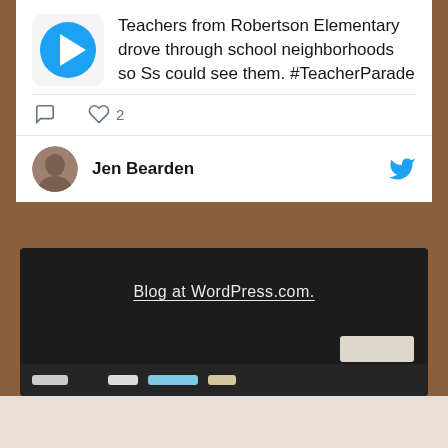[Figure (screenshot): Tweet card showing a play button icon and text: 'Teachers from Robertson Elementary drove through school neighborhoods so Ss could see them. #TeacherParade']
Teachers from Robertson Elementary drove through school neighborhoods so Ss could see them. #TeacherParade
[Figure (screenshot): Tweet actions row showing comment icon, heart icon with count 2]
Jen Bearden
[Figure (screenshot): Chalkboard background with chalk tray, eraser, and text 'Blog at WordPress.com.']
Blog at WordPress.com.